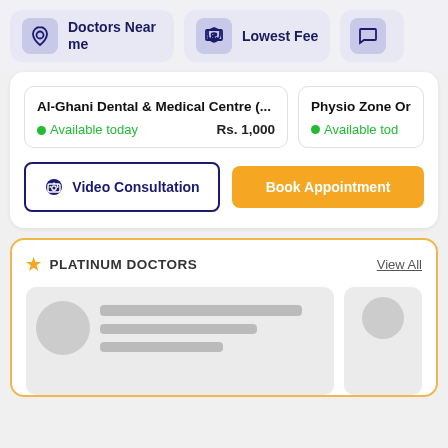Doctors Near me
Lowest Fee
Al-Ghani Dental & Medical Centre (... • Available today Rs. 1,000
Physio Zone Or • Available tod
Video Consultation
Book Appointment
PLATINUM DOCTORS
View All